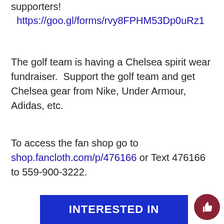supporters!
https://goo.gl/forms/rvy8FPHM53Dp0uRz1
The golf team is having a Chelsea spirit wear fundraiser.  Support the golf team and get Chelsea gear from Nike, Under Armour, Adidas, etc.
To access the fan shop go to shop.fancloth.com/p/476166 or Text 476166 to 559-900-3222.
[Figure (other): Blue banner with bold white text reading INTERESTED IN at the bottom of the page, with a dark red circular thumbs-up button in the bottom right corner]